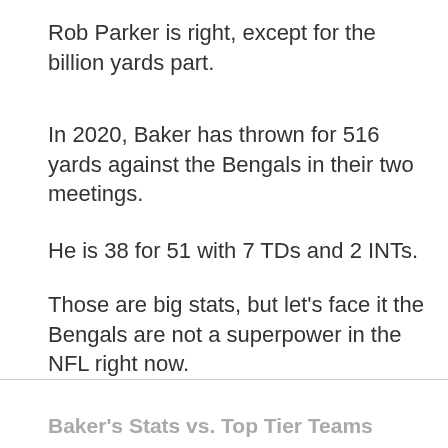Rob Parker is right, except for the billion yards part.
In 2020, Baker has thrown for 516 yards against the Bengals in their two meetings.
He is 38 for 51 with 7 TDs and 2 INTs.
Those are big stats, but let's face it the Bengals are not a superpower in the NFL right now.
Baker's Stats vs. Top Tier Teams